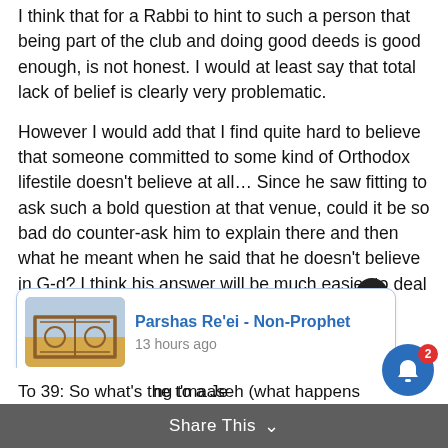I think that for a Rabbi to hint to such a person that being part of the club and doing good deeds is good enough, is not honest. I would at least say that total lack of belief is clearly very problematic.
However I would add that I find quite hard to believe that someone committed to some kind of Orthodox lifestile doesn't believe at all… Since he saw fitting to ask such a bold question at that venue, could it be so bad do counter-ask him to explain there and then what he meant when he said that he doesn't believe in G-d? I think his answer will be much easier to deal with…
[Figure (screenshot): Preview card for article 'Parshas Re'ei - Non-Prophet' posted 13 hours ago, with thumbnail image of outdoor gate/fence scene]
ng to a Je
To 39: So what's the t'maaseh (what happens
Share This